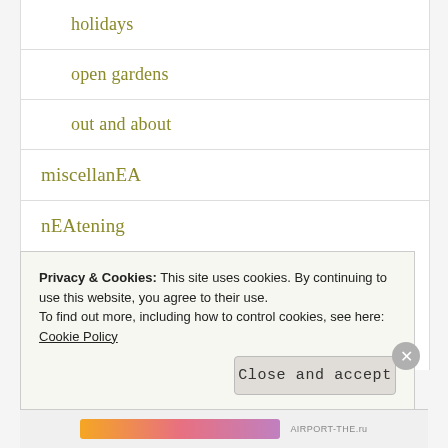holidays
open gardens
out and about
miscellanEA
nEAtening
cleaning
Privacy & Cookies: This site uses cookies. By continuing to use this website, you agree to their use.
To find out more, including how to control cookies, see here: Cookie Policy
Close and accept